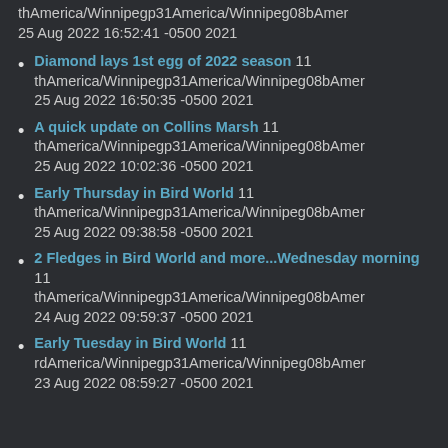thAmerica/Winnipegp31America/Winnipeg08bAmer 25 Aug 2022 16:52:41 -0500 2021
Diamond lays 1st egg of 2022 season 11 thAmerica/Winnipegp31America/Winnipeg08bAmer 25 Aug 2022 16:50:35 -0500 2021
A quick update on Collins Marsh 11 thAmerica/Winnipegp31America/Winnipeg08bAmer 25 Aug 2022 10:02:36 -0500 2021
Early Thursday in Bird World 11 thAmerica/Winnipegp31America/Winnipeg08bAmer 25 Aug 2022 09:38:58 -0500 2021
2 Fledges in Bird World and more...Wednesday morning 11 thAmerica/Winnipegp31America/Winnipeg08bAmer 24 Aug 2022 09:59:37 -0500 2021
Early Tuesday in Bird World 11 rdAmerica/Winnipegp31America/Winnipeg08bAmer 23 Aug 2022 08:59:27 -0500 2021